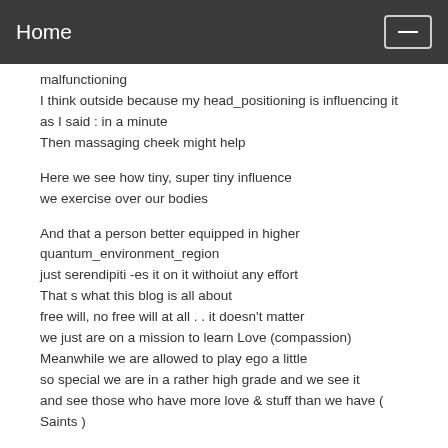Home
malfunctioning
I think outside because my head_positioning is influencing it
as I said : in a minute
Then massaging cheek might help
Here we see how tiny, super tiny influence we exercise over our bodies
And that a person better equipped in higher quantum_environment_region
just serendipiti -es it on it withoiut any effort
That s what this blog is all about
free will, no free will at all . . it doesn't matter
we just are on a mission to learn Love (compassion)
Meanwhile we are allowed to play ego a little
so special we are in a rather high grade and we see it
and see those who have more love & stuff than we have ( Saints )
So, . . as the Bell Syndrome healed in a week
with roaring sound